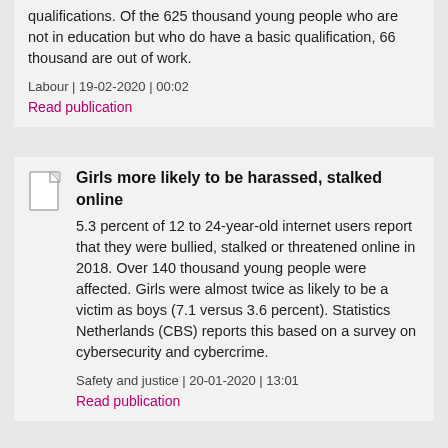qualifications. Of the 625 thousand young people who are not in education but who do have a basic qualification, 66 thousand are out of work.
Labour | 19-02-2020 | 00:02
Read publication
Girls more likely to be harassed, stalked online
5.3 percent of 12 to 24-year-old internet users report that they were bullied, stalked or threatened online in 2018. Over 140 thousand young people were affected. Girls were almost twice as likely to be a victim as boys (7.1 versus 3.6 percent). Statistics Netherlands (CBS) reports this based on a survey on cybersecurity and cybercrime.
Safety and justice | 20-01-2020 | 13:01
Read publication